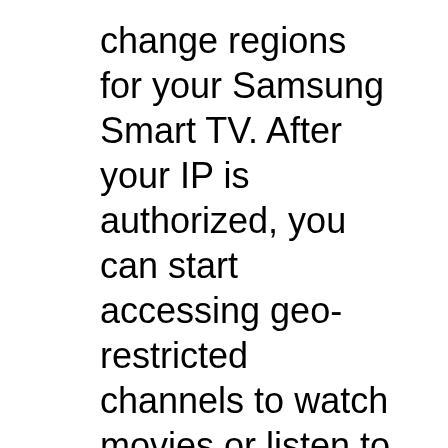change regions for your Samsung Smart TV. After your IP is authorized, you can start accessing geo-restricted channels to watch movies or listen to music.
How to set up Smart DNS to unblock Netflix on a Samsung Smart TV? Press ‘Menu’ on the remote, scroll to ‘Network’ and select ‘Network Status’. Select ‘IP Settings’, go to ‘DNS Settings’ and choose ‘Enter Manually’. Enter the number you were given by your DNS service. How do I change the region on my Samsung Smart TV 2018? If your smart TV lets you change DNS settings, the proxy (called Media Streamer) can be set up independently of the VPN and still enable you to access streaming